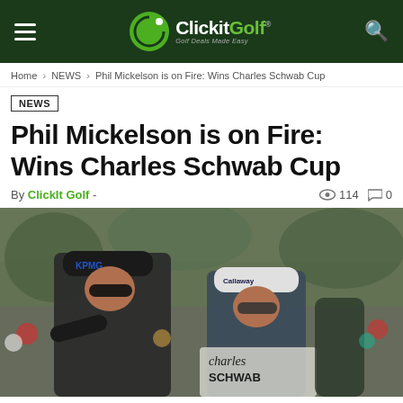ClickitGolf — Golf Deals Made Easy
Home › NEWS › Phil Mickelson is on Fire: Wins Charles Schwab Cup
NEWS
Phil Mickelson is on Fire: Wins Charles Schwab Cup
By ClickIt Golf - 👁 114 💬 0
[Figure (photo): Phil Mickelson wearing KPMG cap pointing with his caddie who is wearing a Callaway cap, both in dark clothing. A Charles Schwab banner/vest is visible on the caddie. Crowd in background.]